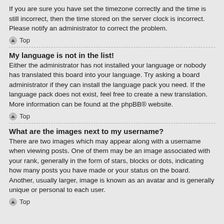If you are sure you have set the timezone correctly and the time is still incorrect, then the time stored on the server clock is incorrect. Please notify an administrator to correct the problem.
Top
My language is not in the list!
Either the administrator has not installed your language or nobody has translated this board into your language. Try asking a board administrator if they can install the language pack you need. If the language pack does not exist, feel free to create a new translation. More information can be found at the phpBB® website.
Top
What are the images next to my username?
There are two images which may appear along with a username when viewing posts. One of them may be an image associated with your rank, generally in the form of stars, blocks or dots, indicating how many posts you have made or your status on the board. Another, usually larger, image is known as an avatar and is generally unique or personal to each user.
Top